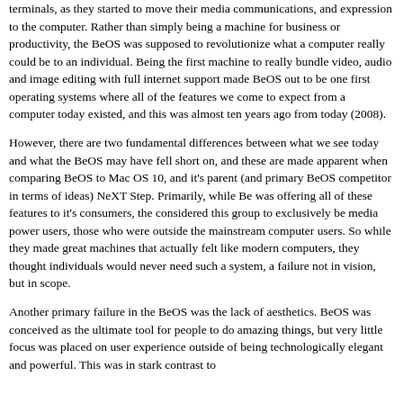terminals, as they started to move their media communications, and expression to the computer. Rather than simply being a machine for business or productivity, the BeOS was supposed to revolutionize what a computer really could be to an individual. Being the first machine to really bundle video, audio and image editing with full internet support made BeOS out to be one first operating systems where all of the features we come to expect from a computer today existed, and this was almost ten years ago from today (2008).
However, there are two fundamental differences between what we see today and what the BeOS may have fell short on, and these are made apparent when comparing BeOS to Mac OS 10, and it's parent (and primary BeOS competitor in terms of ideas) NeXT Step. Primarily, while Be was offering all of these features to it's consumers, the considered this group to exclusively be media power users, those who were outside the mainstream computer users. So while they made great machines that actually felt like modern computers, they thought individuals would never need such a system, a failure not in vision, but in scope.
Another primary failure in the BeOS was the lack of aesthetics. BeOS was conceived as the ultimate tool for people to do amazing things, but very little focus was placed on user experience outside of being technologically elegant and powerful. This was in stark contrast to